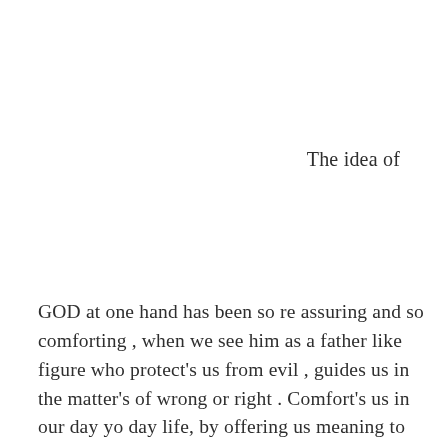The idea of
GOD at one hand has been so re assuring and so comforting , when we see him as a father like figure who protect's us from evil , guides us in the matter's of wrong or right . Comfort's us in our day yo day life, by offering us meaning to event's that we have no answer for, gives us a so called code of morality of do's and don't's. He is the greatest source of wisdom